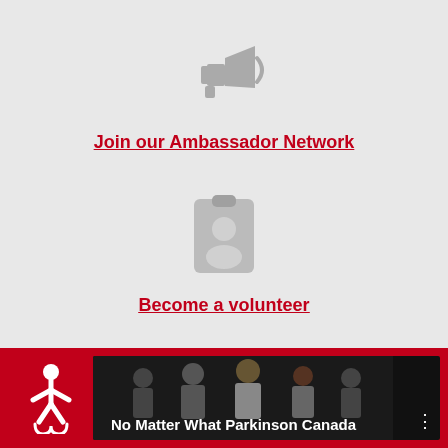[Figure (illustration): Gray megaphone/loudspeaker icon]
Join our Ambassador Network
[Figure (illustration): Gray ID card / volunteer badge icon with person silhouette]
Become a volunteer
[Figure (illustration): Red footer bar with Parkinson Canada accessibility logo (white figure) and video thumbnail showing multiple people with text 'No Matter What Parkinson Canada']